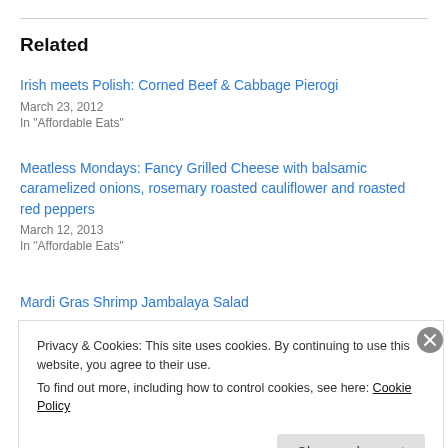Related
Irish meets Polish: Corned Beef & Cabbage Pierogi
March 23, 2012
In "Affordable Eats"
Meatless Mondays: Fancy Grilled Cheese with balsamic caramelized onions, rosemary roasted cauliflower and roasted red peppers
March 12, 2013
In "Affordable Eats"
Mardi Gras Shrimp Jambalaya Salad
Privacy & Cookies: This site uses cookies. By continuing to use this website, you agree to their use.
To find out more, including how to control cookies, see here: Cookie Policy
Close and accept